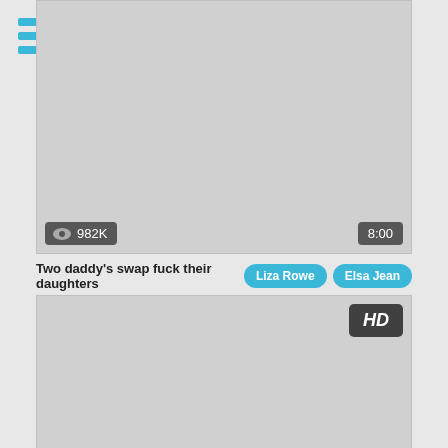[Figure (screenshot): Menu hamburger icon with three horizontal cyan/teal bars]
[Figure (screenshot): Video thumbnail card (gray placeholder) with view count 982K and duration 8:00]
Two daddy's swap fuck their daughters
Liza Rowe
Elsa Jean
[Figure (screenshot): Video thumbnail card (gray placeholder) with HD badge, view count 204K and duration 7:00]
Fuck revenge on stepsis - sophia leone
Sophia Leone
[Figure (screenshot): Partial video thumbnail card at bottom (gray placeholder)]